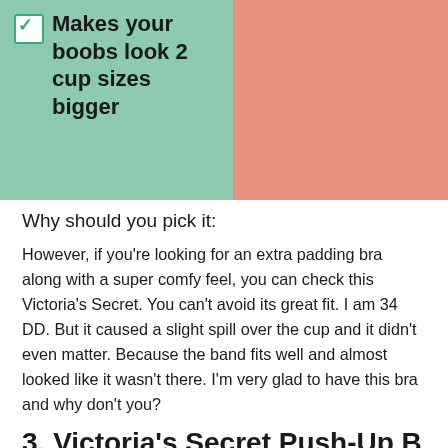Makes your boobs look 2 cup sizes bigger
Why should you pick it:
However, if you're looking for an extra padding bra along with a super comfy feel, you can check this Victoria's Secret. You can't avoid its great fit. I am 34 DD. But it caused a slight spill over the cup and it didn't even matter. Because the band fits well and almost looked like it wasn't there. I'm very glad to have this bra and why don't you?
3. Victoria's Secret Push-Up B-
Victoria's Secret Push up bra is a common choice